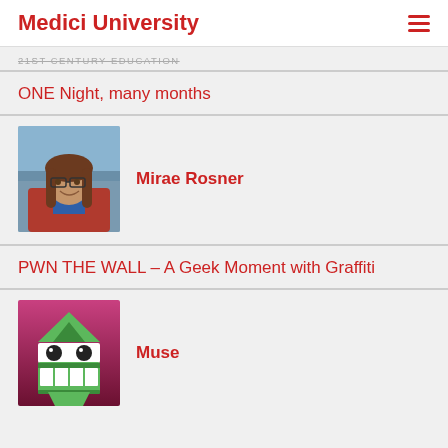Medici University
21ST CENTURY EDUCATION
ONE Night, many months
[Figure (photo): Headshot photo of Mirae Rosner, a woman with long brown hair and glasses, wearing a red jacket, outdoors with a bridge visible in the background.]
Mirae Rosner
PWN THE WALL – A Geek Moment with Graffiti
[Figure (illustration): Cartoon illustration of an angry robot/alien face with green triangular head, white rectangular eyes with dark pupils, and a grimacing mouth with teeth, on a pink/maroon gradient background.]
Muse